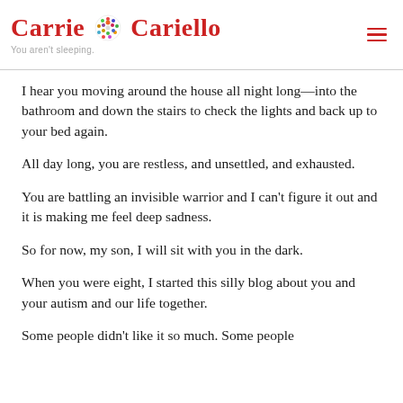Carrie Cariello — You aren't sleeping.
I hear you moving around the house all night long—into the bathroom and down the stairs to check the lights and back up to your bed again.
All day long, you are restless, and unsettled, and exhausted.
You are battling an invisible warrior and I can't figure it out and it is making me feel deep sadness.
So for now, my son, I will sit with you in the dark.
When you were eight, I started this silly blog about you and your autism and our life together.
Some people didn't like it so much. Some people